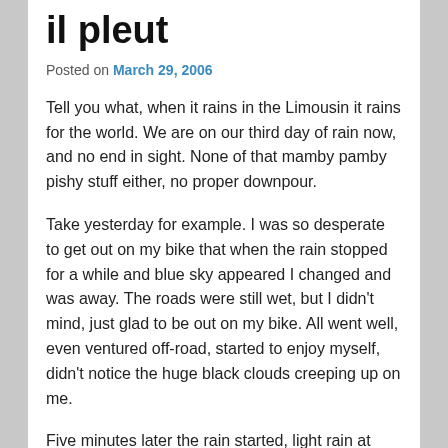il pleut
Posted on March 29, 2006
Tell you what, when it rains in the Limousin it rains for the world. We are on our third day of rain now, and no end in sight. None of that mamby pamby pishy stuff either, no proper downpour.
Take yesterday for example. I was so desperate to get out on my bike that when the rain stopped for a while and blue sky appeared I changed and was away. The roads were still wet, but I didn't mind, just glad to be out on my bike. All went well, even ventured off-road, started to enjoy myself, didn't notice the huge black clouds creeping up on me.
Five minutes later the rain started, light rain at first, but then heavier and heavier, and just when you thought it couldn't rain any harder it turned to hail, and it hurt! With nowhere to stop for shelter, I paddled (might as well have